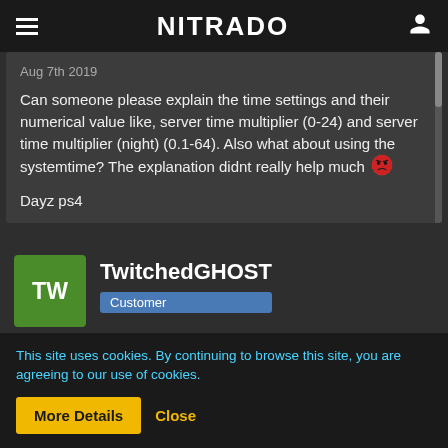NITRADO
Aug 7th 2019
Can someone please explain the time settings and their numerical value like, server time multiplier (0-24) and server time multiplier (night) (0.1-64). Also what about using the systemtime? The explanation didnt really help much 😠
Dayz ps4
TwitchedGHOST
Customer
This site uses cookies. By continuing to browse this site, you are agreeing to our use of cookies.
More Details
Close